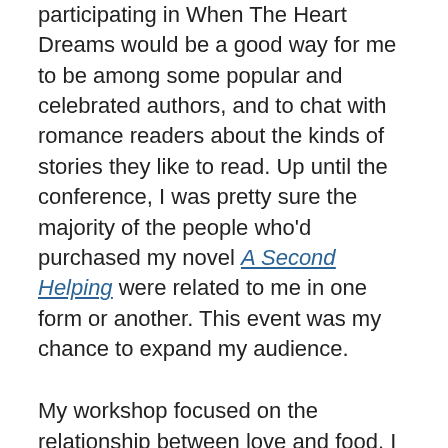participating in When The Heart Dreams would be a good way for me to be among some popular and celebrated authors, and to chat with romance readers about the kinds of stories they like to read. Up until the conference, I was pretty sure the majority of the people who'd purchased my novel A Second Helping were related to me in one form or another. This event was my chance to expand my audience.
My workshop focused on the relationship between love and food. I was the unknown author at the conference, so I didn't expect anyone to attend my discussion. But five women actually showed up for my class. I did a few jokes, got a few laughs, and then the real fun began. I chatted about relationships, marriage